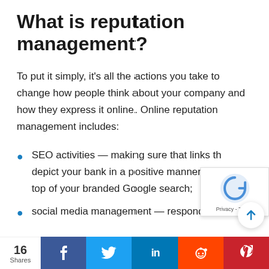What is reputation management?
To put it simply, it's all the actions you take to change how people think about your company and how they express it online. Online reputation management includes:
SEO activities — making sure that links that depict your bank in a positive manner are at the top of your branded Google search;
social media management — responding to...
16 Shares | Facebook | Twitter | LinkedIn | Reddit | Pinterest